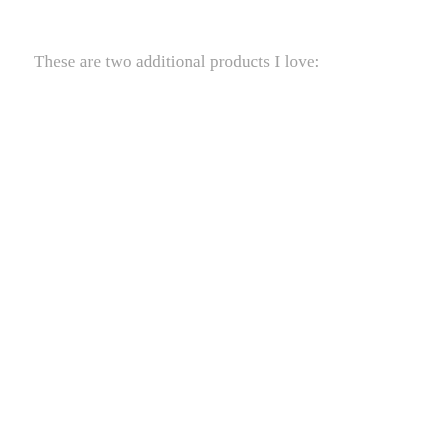These are two additional products I love: